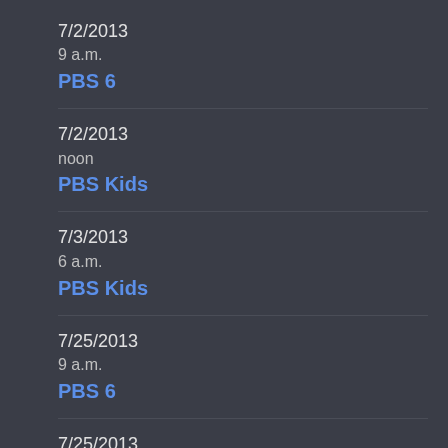7/2/2013
9 a.m.
PBS 6
7/2/2013
noon
PBS Kids
7/3/2013
6 a.m.
PBS Kids
7/25/2013
9 a.m.
PBS 6
7/25/2013
noon
PBS Kids